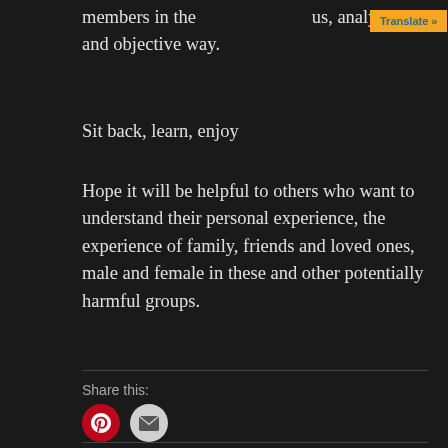members in the [Translate »] us, analytical and objective way.
Sit back, learn, enjoy
Hope it will be helpful to others who want to understand their personal experience, the experience of family, friends and loved ones, male and female in these and other potentially harmful groups.
Share this: